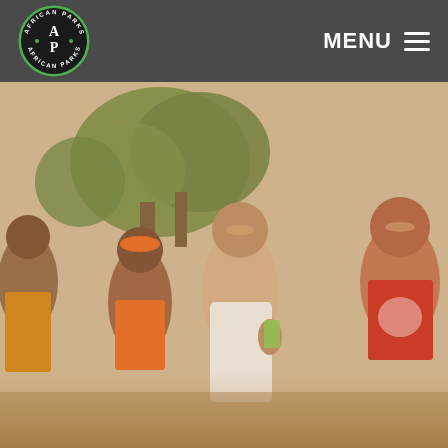African Parks — MENU navigation header
[Figure (photo): Group of smiling African women outdoors, one holding money/currency, trees in background, colorful clothing including orange and red shirts]